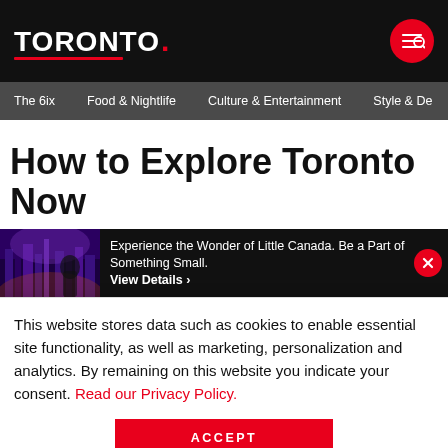TORONTO
The 6ix   Food & Nightlife   Culture & Entertainment   Style & De…
How to Explore Toronto Now
[Figure (screenshot): Ad banner with purple-lit cityscape image on left and text: Experience the Wonder of Little Canada. Be a Part of Something Small. View Details > with a red X close button]
This website stores data such as cookies to enable essential site functionality, as well as marketing, personalization and analytics. By remaining on this website you indicate your consent. Read our Privacy Policy.
ACCEPT
them voluntarily